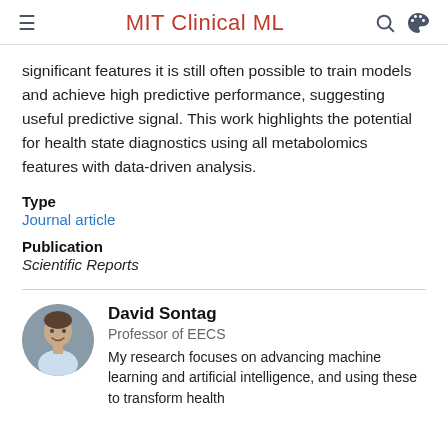MIT Clinical ML
significant features it is still often possible to train models and achieve high predictive performance, suggesting useful predictive signal. This work highlights the potential for health state diagnostics using all metabolomics features with data-driven analysis.
Type
Journal article
Publication
Scientific Reports
[Figure (photo): Circular portrait photo of David Sontag]
David Sontag
Professor of EECS
My research focuses on advancing machine learning and artificial intelligence, and using these to transform health